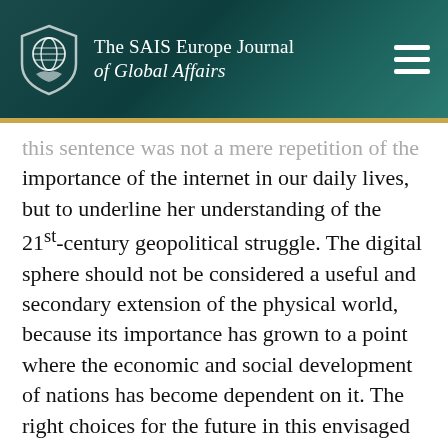The SAIS Europe Journal of Global Affairs
this sentence was not a mere repetition of the importance of the internet in our daily lives, but to underline her understanding of the 21st-century geopolitical struggle. The digital sphere should not be considered a useful and secondary extension of the physical world, because its importance has grown to a point where the economic and social development of nations has become dependent on it. The right choices for the future in this envisaged scenario, originate first and foremost from the comprehension of the intrinsic political